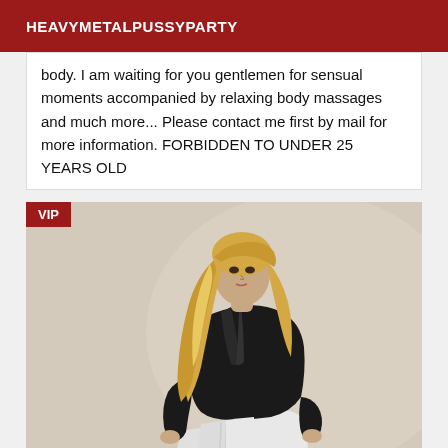HEAVYMETALPUSSYPARTY
body. I am waiting for you gentlemen for sensual moments accompanied by relaxing body massages and much more... Please contact me first by mail for more information. FORBIDDEN TO UNDER 25 YEARS OLD
[Figure (photo): Woman with long blonde hair wearing a black jacket and white pants, posed looking back over her shoulder. VIP badge in top-left corner.]